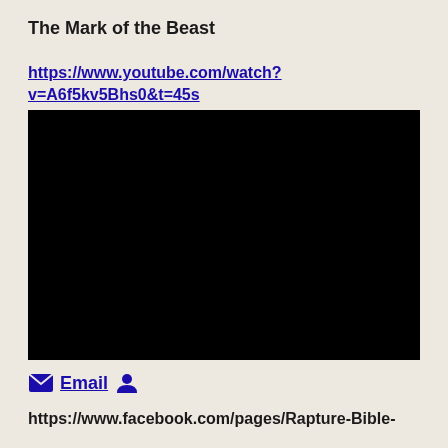The Mark of the Beast
https://www.youtube.com/watch?v=A6f5kv5Bhs0&t=45s
[Figure (screenshot): Black video embed placeholder for a YouTube video]
Email  https://www.facebook.com/pages/Rapture-Bible-